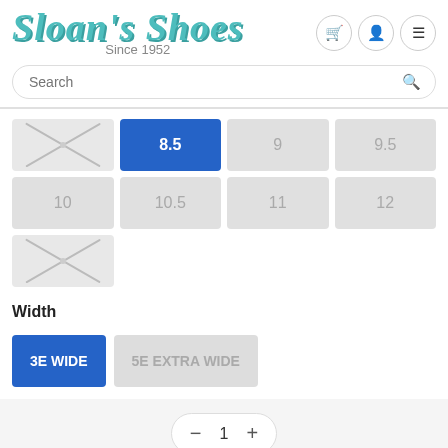Sloan's Shoes Since 1952
[Figure (screenshot): Search bar with placeholder text 'Search' and search icon]
[Figure (infographic): Shoe size selector grid with sizes: unavailable (X), 8.5 (selected, blue), 9, 9.5, 10, 10.5, 11, 12, unavailable (X)]
Width
[Figure (infographic): Width selector buttons: '3E WIDE' selected (blue), '5E EXTRA WIDE' unselected (gray)]
[Figure (infographic): Quantity control: minus button, 1, plus button]